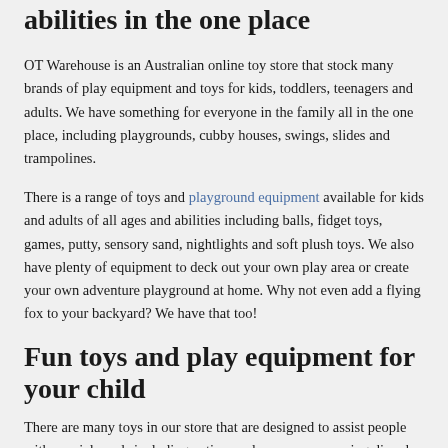abilities in the one place
OT Warehouse is an Australian online toy store that stock many brands of play equipment and toys for kids, toddlers, teenagers and adults. We have something for everyone in the family all in the one place, including playgrounds, cubby houses, swings, slides and trampolines.
There is a range of toys and playground equipment available for kids and adults of all ages and abilities including balls, fidget toys, games, putty, sensory sand, nightlights and soft plush toys. We also have plenty of equipment to deck out your own play area or create your own adventure playground at home. Why not even add a flying fox to your backyard? We have that too!
Fun toys and play equipment for your child
There are many toys in our store that are designed to assist people with special needs including autism and sensory processing disorder. We